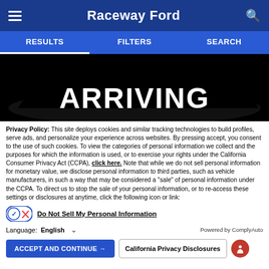Raceway Ford
RESULTS   FILTERS   SEARCH
[Figure (photo): Silhouette of a car with text 'ARRIVING' overlaid in white bold letters on a black background]
Privacy Policy: This site deploys cookies and similar tracking technologies to build profiles, serve ads, and personalize your experience across websites. By pressing accept, you consent to the use of such cookies. To view the categories of personal information we collect and the purposes for which the information is used, or to exercise your rights under the California Consumer Privacy Act (CCPA), click here. Note that while we do not sell personal information for monetary value, we disclose personal information to third parties, such as vehicle manufacturers, in such a way that may be considered a "sale" of personal information under the CCPA. To direct us to stop the sale of your personal information, or to re-access these settings or disclosures at anytime, click the following icon or link:
Do Not Sell My Personal Information
Language: English   Powered by ComplyAuto
ACCEPT AND CONTINUE →   California Privacy Disclosures